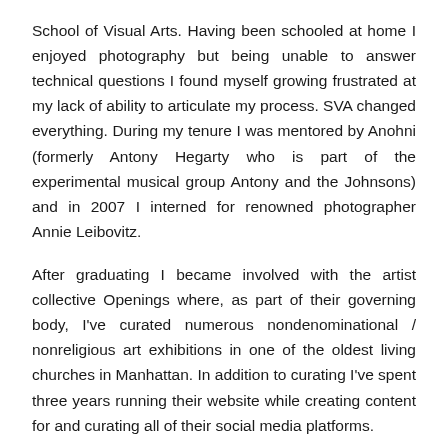School of Visual Arts. Having been schooled at home I enjoyed photography but being unable to answer technical questions I found myself growing frustrated at my lack of ability to articulate my process. SVA changed everything. During my tenure I was mentored by Anohni (formerly Antony Hegarty who is part of the experimental musical group Antony and the Johnsons) and in 2007 I interned for renowned photographer Annie Leibovitz.
After graduating I became involved with the artist collective Openings where, as part of their governing body, I've curated numerous nondenominational / nonreligious art exhibitions in one of the oldest living churches in Manhattan. In addition to curating I've spent three years running their website while creating content for and curating all of their social media platforms.